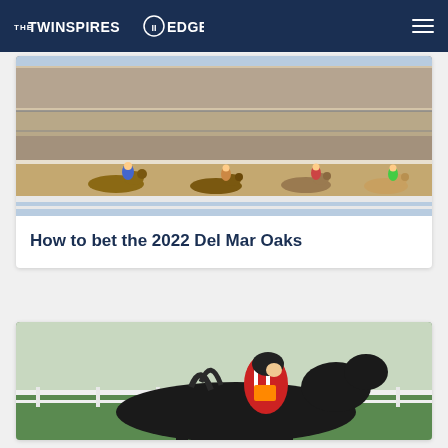THE TWINSPIRES EDGE
[Figure (photo): Horse race at a packed grandstand racetrack, multiple horses and jockeys racing on a dirt track with large crowd in the stands]
How to bet the 2022 Del Mar Oaks
[Figure (photo): Close-up of a jockey in red and white silks riding a dark horse on a turf course with white rail fencing in the background]